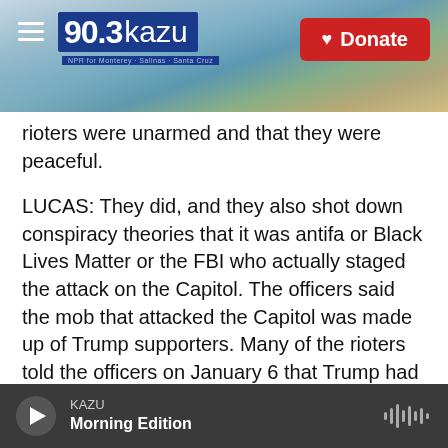[Figure (screenshot): KAZU 90.3 radio station website header banner with scenic coastal background, hamburger menu icon, KAZU logo in blue, and red Donate button]
rioters were unarmed and that they were peaceful.
LUCAS: They did, and they also shot down conspiracy theories that it was antifa or Black Lives Matter or the FBI who actually staged the attack on the Capitol. The officers said the mob that attacked the Capitol was made up of Trump supporters. Many of the rioters told the officers on January 6 that Trump had sent them to the Capitol.
One other thing that struck me was the frustration that the officers expressed towards Republican lawmakers who are trying to downplay or
KAZU  Morning Edition